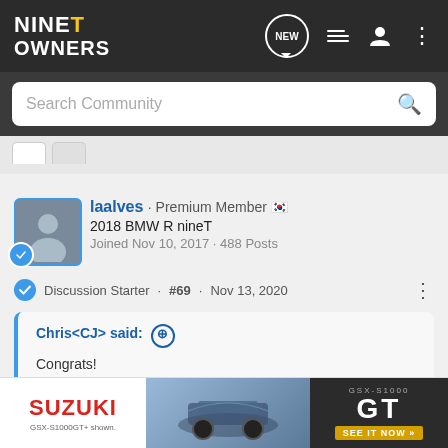NineT Owners — navigation bar with NEW, list, user, menu icons
Search Community
laalves · Premium Member 🇰🇷
2018 BMW R nineT
Joined Nov 10, 2017 · 488 Posts
Discussion Starter · #69 · Nov 13, 2020
Chris<CJ> said: ↑
Congrats!
Well done and in general there is good attention to detail e.g. the oil cooler side covers.
IMHO the gold forks are out of place as there is no other color-matching.
[Figure (photo): Suzuki GSX-S1000GT+ advertisement banner at bottom of page]